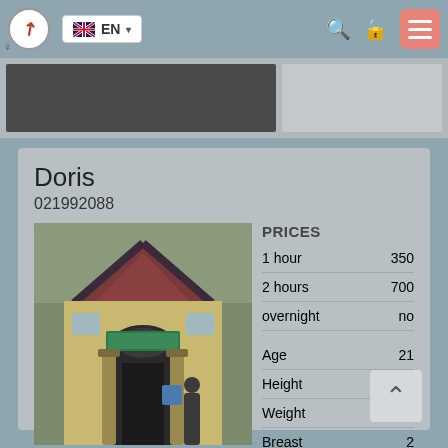EN
[Figure (screenshot): Partially visible dark image strip at top of page]
Doris
021992088
[Figure (photo): Photo of a building exterior with a peaked roof, arched doorway, decorative columns, and a sign]
|  |  |
| --- | --- |
| PRICES |  |
| 1 hour | 350 |
| 2 hours | 700 |
| overnight | no |
| Age | 21 |
| Height | 161 |
| Weight | 74 |
| Breast | 2 |